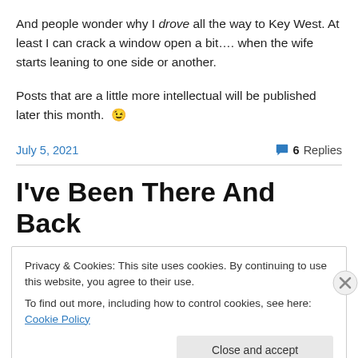And people wonder why I drove all the way to Key West. At least I can crack a window open a bit…. when the wife starts leaning to one side or another.
Posts that are a little more intellectual will be published later this month. 😉
July 5, 2021    💬 6 Replies
I've Been There And Back
Privacy & Cookies: This site uses cookies. By continuing to use this website, you agree to their use.
To find out more, including how to control cookies, see here: Cookie Policy
Close and accept